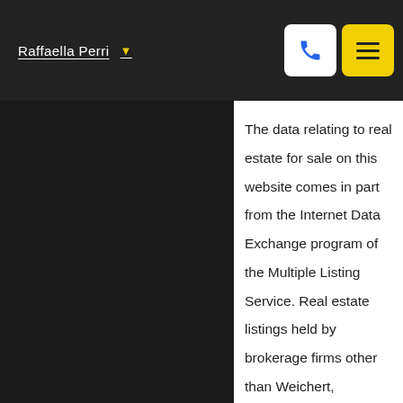Raffaella Perri
The data relating to real estate for sale on this website comes in part from the Internet Data Exchange program of the Multiple Listing Service. Real estate listings held by brokerage firms other than Weichert, Realtors® - All Pro - Elmwood Park may be marked with the Internet Data Exchange logo and detailed information about those properties will include the name of the listing